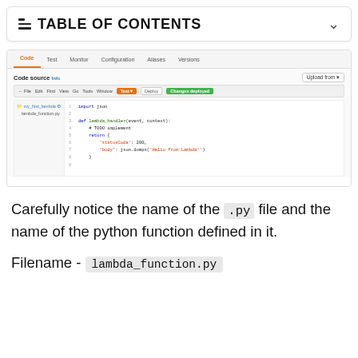TABLE OF CONTENTS
[Figure (screenshot): AWS Lambda code editor screenshot showing Code, Test, Monitor, Configuration, Aliases, Versions tabs. Code source panel with a lambda_function.py file open displaying Python code for a lambda_handler function. Toolbar has Test (orange), Deploy, and Changes deployed (green) buttons.]
Carefully notice the name of the .py file and the name of the python function defined in it.
Filename - lambda_function.py